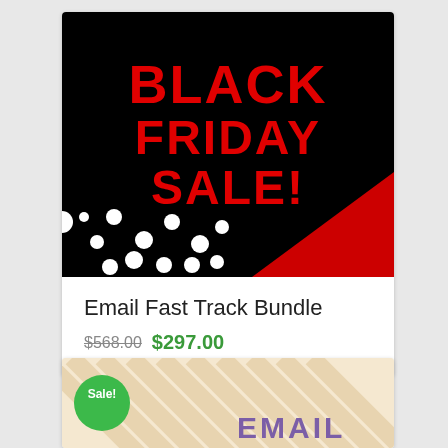[Figure (illustration): Black Friday Sale promotional banner image. Black background with large bold red text reading 'BLACK FRIDAY SALE!'. Bottom-left area has white polka dots. Bottom-right has a red diagonal triangle accent.]
Email Fast Track Bundle
$568.00 $297.00
[Figure (illustration): Partial product card showing a striped/patterned background with a green 'Sale!' badge circle on the left and partial purple text 'EMAIL' on the right.]